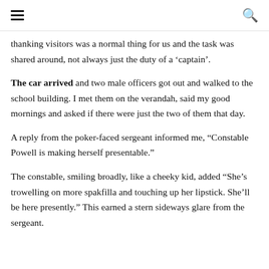≡ 🔍
thanking visitors was a normal thing for us and the task was shared around, not always just the duty of a 'captain'.
The car arrived and two male officers got out and walked to the school building. I met them on the verandah, said my good mornings and asked if there were just the two of them that day.
A reply from the poker-faced sergeant informed me, “Constable Powell is making herself presentable.”
The constable, smiling broadly, like a cheeky kid, added “She’s trowelling on more spakfilla and touching up her lipstick. She’ll be here presently.” This earned a stern sideways glare from the sergeant.